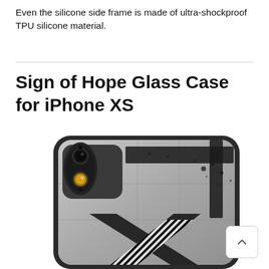Even the silicone side frame is made of ultra-shockproof TPU silicone material.
Sign of Hope Glass Case for iPhone XS
[Figure (photo): Product photo of the Sign of Hope Glass Case for iPhone XS — rear view showing a black phone case with a grey/white abstract graphic design featuring diagonal stripes and paint splatter, with visible dual camera cutout on the upper left.]